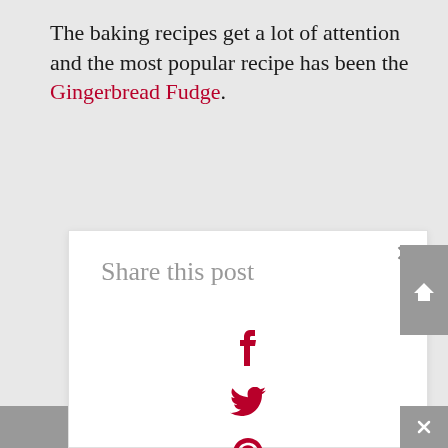The baking recipes get a lot of attention and the most popular recipe has been the Gingerbread Fudge.
[Figure (screenshot): A 'Share this post' modal overlay with a close (×) button in the top right. Contains social media icons in dark red: Facebook (f), Twitter (bird), Pinterest (P), Buffer (stacked layers), and more options (three dots). Gray scroll-up arrow button on the right edge. Gray bars at bottom corners with an × button at bottom right.]